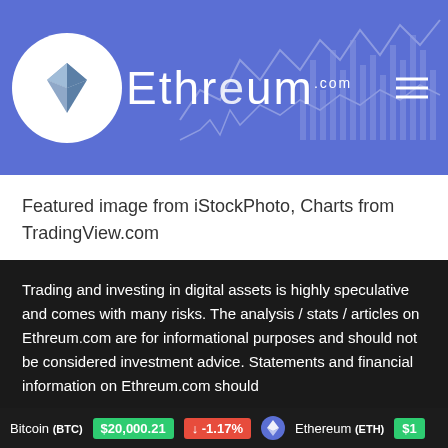[Figure (logo): Ethreum.com logo with Ethereum diamond icon in white circle on blue background, with decorative chart lines in background]
Featured image from iStockPhoto, Charts from TradingView.com
Trading and investing in digital assets is highly speculative and comes with many risks. The analysis / stats / articles on Ethreum.com are for informational purposes and should not be considered investment advice. Statements and financial information on Ethreum.com should
Bitcoin (BTC) $20,000.21 ↓ -1.17%   Ethereum (ETH) $1...